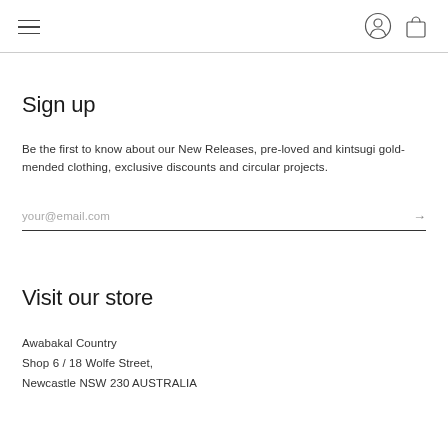Navigation bar with hamburger menu and icons for user account and shopping bag
Sign up
Be the first to know about our New Releases, pre-loved and kintsugi gold-mended clothing, exclusive discounts and circular projects.
your@email.com
Visit our store
Awabakal Country
Shop 6 / 18 Wolfe Street,
Newcastle NSW 230 AUSTRALIA